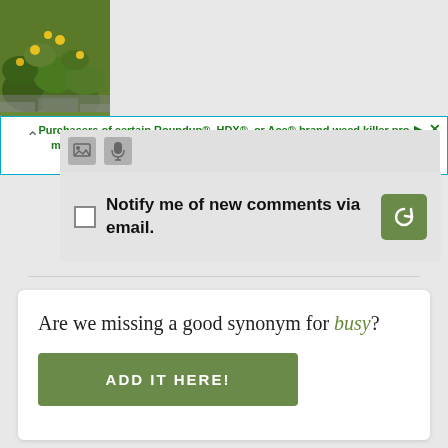[Figure (screenshot): Advertisement banner for Roundup/HDX/Ace weed killer class action settlement with plant photo on left]
Purchasers of certain Roundup®, HDX®, or Ace® brand weed killer products may be eligible for a cash payment from a class action settlement. Visit www.WeedKillerAdSettlement.com to learn more.
[Figure (screenshot): Comment form toolbar with image and microphone icons]
Notify me of new comments via email.
Are we missing a good synonym for busy?
ADD IT HERE!